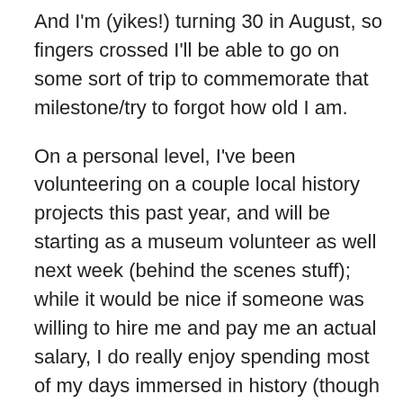And I'm (yikes!) turning 30 in August, so fingers crossed I'll be able to go on some sort of trip to commemorate that milestone/try to forgot how old I am.
On a personal level, I've been volunteering on a couple local history projects this past year, and will be starting as a museum volunteer as well next week (behind the scenes stuff); while it would be nice if someone was willing to hire me and pay me an actual salary, I do really enjoy spending most of my days immersed in history (though sometimes squinting at microfilm for hours can be a bit much), and hopefully all this will lead to an amazing career someday (or I can get some self-confidence and contact people about freelancing for them, but we all know that's never going to happen).
I think I've bored you all enough with my reflections, so I